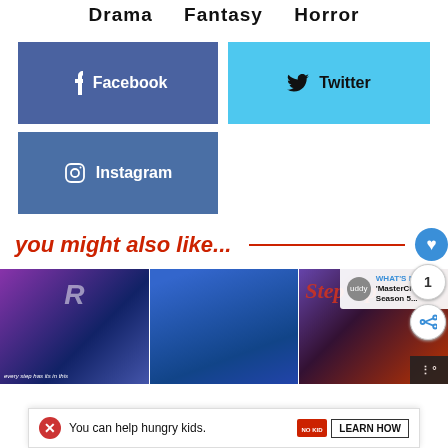Drama    Fantasy    Horror
[Figure (screenshot): Facebook social share button (dark blue)]
[Figure (screenshot): Twitter social share button (light blue)]
[Figure (screenshot): Instagram social share button (steel blue)]
you might also like...
[Figure (screenshot): Three movie poster thumbnails side by side with a 'What's Next - MasterChef Season 5...' overlay and a share/heart sidebar]
[Figure (screenshot): Advertisement bar: 'You can help hungry kids. NO KID HUNGRY LEARN HOW' with close button]